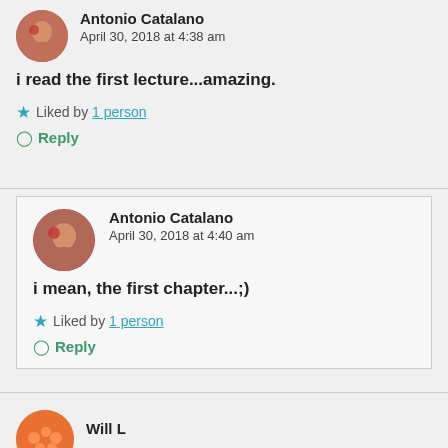Antonio Catalano
April 30, 2018 at 4:38 am
i read the first lecture...amazing.
Liked by 1 person
Reply
Antonio Catalano
April 30, 2018 at 4:40 am
i mean, the first chapter...;)
Liked by 1 person
Reply
Will L